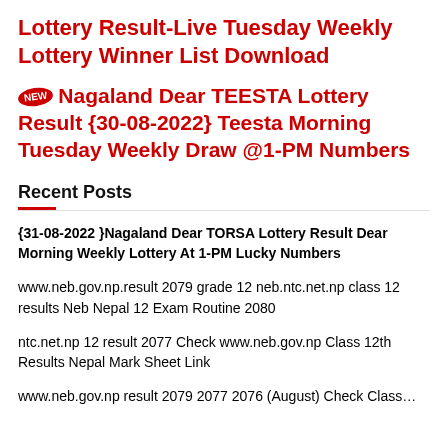Lottery Result-Live Tuesday Weekly Lottery Winner List Download
NEW Nagaland Dear TEESTA Lottery Result {30-08-2022} Teesta Morning Tuesday Weekly Draw @1-PM Numbers
Recent Posts
{31-08-2022 }Nagaland Dear TORSA Lottery Result Dear Morning Weekly Lottery At 1-PM Lucky Numbers
www.neb.gov.np.result 2079 grade 12 neb.ntc.net.np class 12 results Neb Nepal 12 Exam Routine 2080
ntc.net.np 12 result 2077 Check www.neb.gov.np Class 12th Results Nepal Mark Sheet Link
www.neb.gov.np result 2079 2077 2076 (August) Check Class…